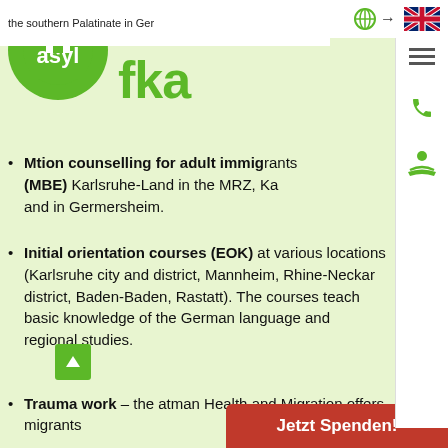[Figure (logo): asyl fka green circular logo with house icon, and green 'fka' text]
Migration counselling for adult immigrants (MBE) Karlsruhe-Land in the MRZ, Ka... and in Germersheim.
Initial orientation courses (EOK) at various locations (Karlsruhe city and district, Mannheim, Rhine-Neckar district, Baden-Baden, Rastatt). The courses teach basic knowledge of the German language and regional studies.
Trauma work – the atman Health and Migration offers migrants...